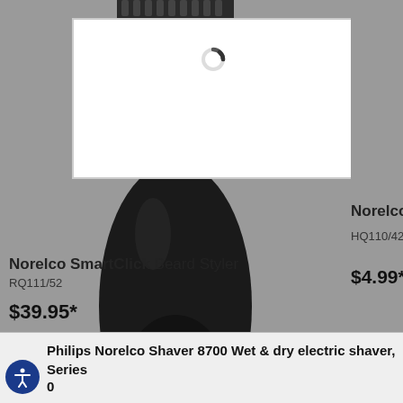[Figure (photo): Philips Norelco SmartClick Beard Styler shaver/trimmer product photo against gray background, with a white lightbox overlay with loading spinner at top]
Norelco SmartClick Beard Styler
RQ111/52
$39.95*
Norelco S
HQ110/42
$4.99*
Philips Norelco Shaver 8700 Wet & dry electric shaver, Series 0